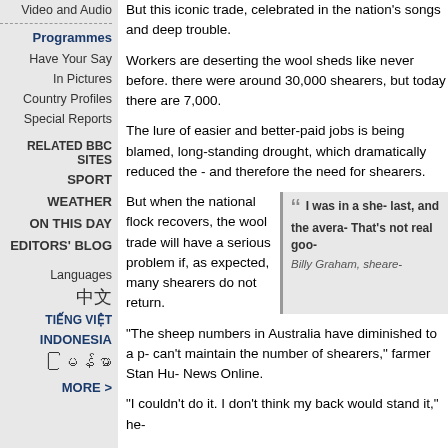Video and Audio
Programmes
Have Your Say
In Pictures
Country Profiles
Special Reports
RELATED BBC SITES
SPORT
WEATHER
ON THIS DAY
EDITORS' BLOG
Languages
中文
TIẾNG VIỆT
INDONESIA
မြန်မာ
MORE >
But this iconic trade, celebrated in the nation's songs and deep trouble.
Workers are deserting the wool sheds like never before. there were around 30,000 shearers, but today there are 7,000.
The lure of easier and better-paid jobs is being blamed, long-standing drought, which dramatically reduced the - and therefore the need for shearers.
But when the national flock recovers, the wool trade will have a serious problem if, as expected, many shearers do not return.
"I was in a she- last, and the avera- That's not real goo- Billy Graham, sheare-
"The sheep numbers in Australia have diminished to a p- can't maintain the number of shearers," farmer Stan Hu- News Online.
"I couldn't do it. I don't think my back would stand it," he-
At Stan Hulme's property, near Harden in New South W- shearers work side-by-side for an exhausting eight hou-
Between them they will get through up to 800 sheep a d- paid around A$2 ($1.40) per fleece.
The sheep are each individually dragged from their pen- to the floor of the shed. Skilled hands ease razor-sharp through their tangled wool.